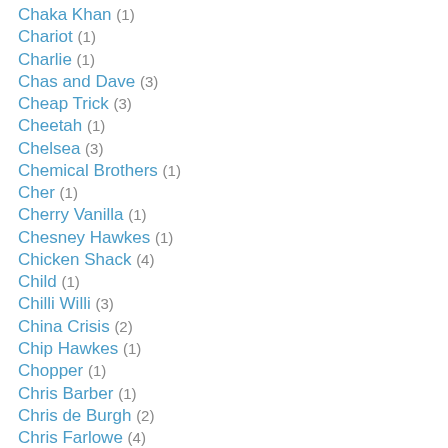Chaka Khan (1)
Chariot (1)
Charlie (1)
Chas and Dave (3)
Cheap Trick (3)
Cheetah (1)
Chelsea (3)
Chemical Brothers (1)
Cher (1)
Cherry Vanilla (1)
Chesney Hawkes (1)
Chicken Shack (4)
Child (1)
Chilli Willi (3)
China Crisis (2)
Chip Hawkes (1)
Chopper (1)
Chris Barber (1)
Chris de Burgh (2)
Chris Farlowe (4)